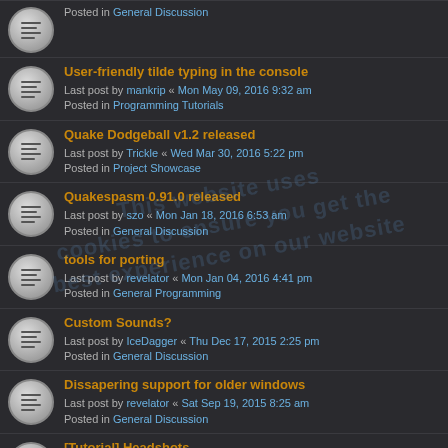Posted in General Discussion
User-friendly tilde typing in the console
Last post by mankrip « Mon May 09, 2016 9:32 am
Posted in Programming Tutorials
Quake Dodgeball v1.2 released
Last post by Trickle « Wed Mar 30, 2016 5:22 pm
Posted in Project Showcase
Quakespasm 0.91.0 released
Last post by szo « Mon Jan 18, 2016 6:53 am
Posted in General Discussion
tools for porting
Last post by revelator « Mon Jan 04, 2016 4:41 pm
Posted in General Programming
Custom Sounds?
Last post by IceDagger « Thu Dec 17, 2015 2:25 pm
Posted in General Discussion
Dissapering support for older windows
Last post by revelator « Sat Sep 19, 2015 8:25 am
Posted in General Discussion
[Tutorial] Headshots
Last post by Dr. Shadowborg « Thu Jul 30, 2015 11:01 pm
Posted in QuakeC Programming
[tool] tyrutils-ericw release (q1bsp tools)
Last post by ericw « Wed Jul 22, 2015 4:21 pm
Posted in Mapping
[Tutorial] Railgun